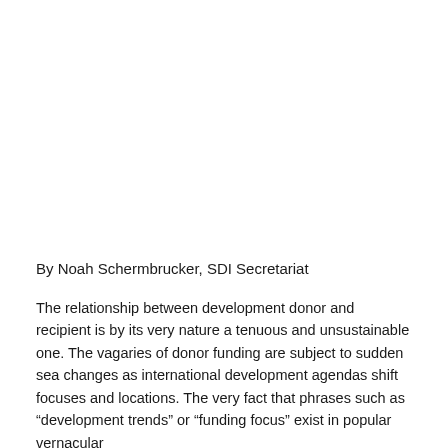By Noah Schermbrucker, SDI Secretariat
The relationship between development donor and recipient is by its very nature a tenuous and unsustainable one. The vagaries of donor funding are subject to sudden sea changes as international development agendas shift focuses and locations. The very fact that phrases such as “development trends” or “funding focus” exist in popular vernacular